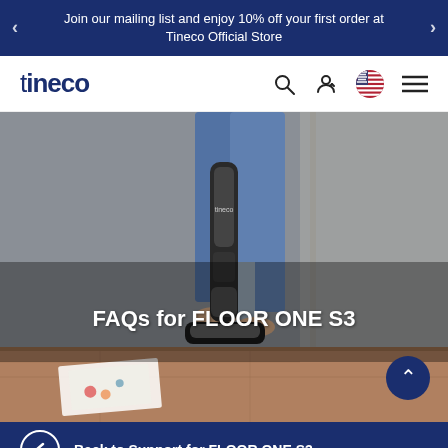Join our mailing list and enjoy 10% off your first order at Tineco Official Store
[Figure (screenshot): Tineco website navigation bar with logo, search icon, account icon, US flag icon, and hamburger menu icon]
[Figure (photo): Person using a Tineco FLOOR ONE S3 floor washer on hardwood floor with the text 'FAQs for FLOOR ONE S3' overlaid in white bold text]
FAQs for FLOOR ONE S3
Back to Support for FLOOR ONE S3